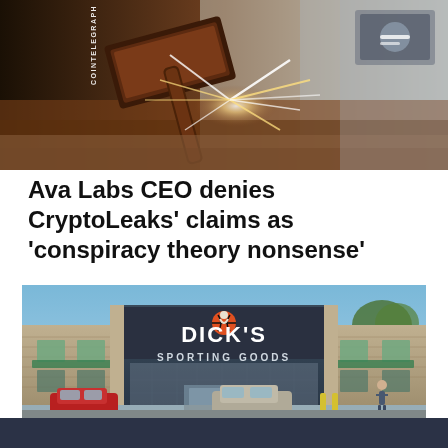[Figure (photo): Close-up photo of a wooden gavel striking, with dramatic light rays/sparks effect. COINTELEGRAPH watermark visible vertically on the left side.]
Ava Labs CEO denies CryptoLeaks' claims as 'conspiracy theory nonsense'
[Figure (photo): Exterior photo of a Dick's Sporting Goods store with brick facade, parking lot with cars in foreground, blue sky background. Large DICK'S SPORTING GOODS signage visible on the building.]